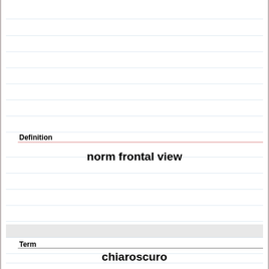Definition
norm frontal view
Term
chiaroscuro